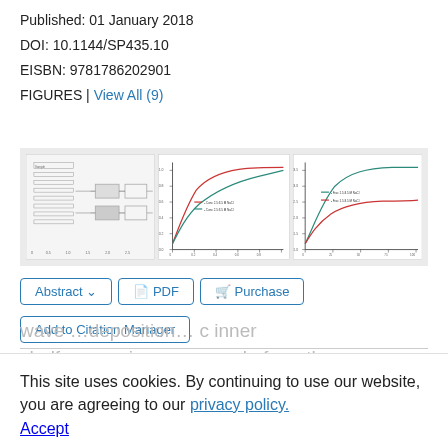Published: 01 January 2018
DOI: 10.1144/SP435.10
EISBN: 9781786202901
FIGURES | View All (9)
[Figure (other): Three small scientific figures: a flowchart/schematic diagram on the left, two continuous-plot line charts in the center and right showing curved lines in red and green/teal colors]
Abstract  PDF  Purchase
Add to Citation Manager
BOOK CHAPTER
This site uses cookies. By continuing to use our website, you are agreeing to our privacy policy.
Accept